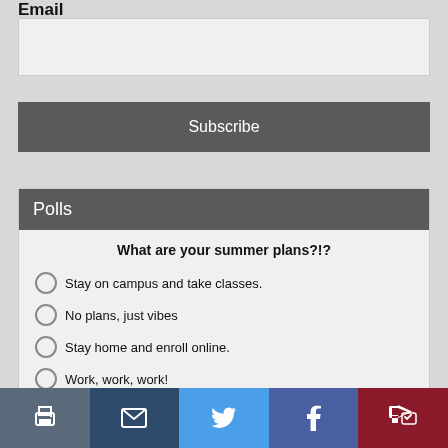Email
Subscribe
Polls
What are your summer plans?!?
Stay on campus and take classes.
No plans, just vibes
Stay home and enroll online.
Work, work, work!
Vote
View Results
Polls Archive